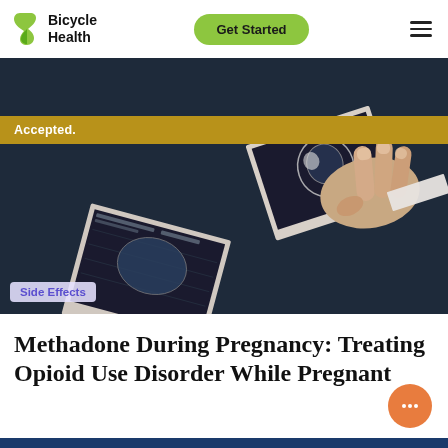Bicycle Health | Get Started
[Figure (photo): A hand holding ultrasound/sonogram photos on a dark navy blue fabric background. Two ultrasound images are visible, one being held up and one lying flat. A gold banner reading 'Accepted.' overlays the top portion. A 'Side Effects' category tag appears in the lower left corner of the image.]
Methadone During Pregnancy: Treating Opioid Use Disorder While Pregnant